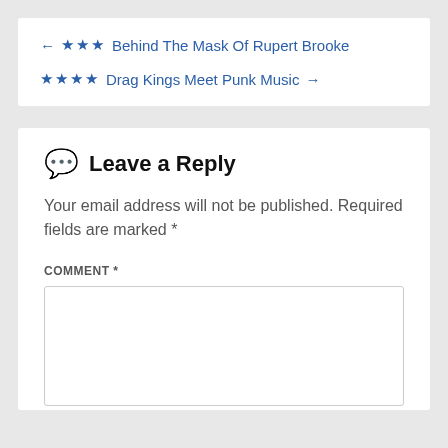← ★★★ Behind The Mask Of Rupert Brooke
★★★★ Drag Kings Meet Punk Music →
Leave a Reply
Your email address will not be published. Required fields are marked *
COMMENT *